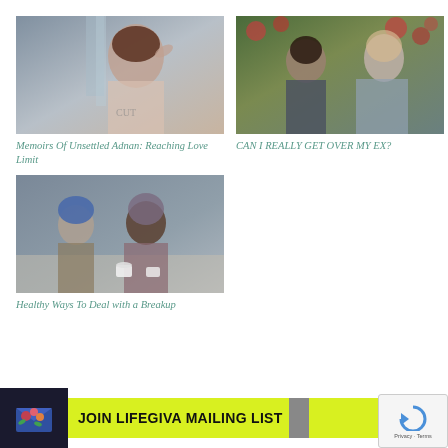[Figure (photo): Woman with hand in hair, waterfall background]
Memoirs Of Unsettled Adnan: Reaching Love Limit
[Figure (photo): Man and woman couple among red flowers]
CAN I REALLY GET OVER MY EX?
[Figure (photo): Two people sitting at a cafe table, one wearing blue beanie]
Healthy Ways To Deal with a Breakup
[Figure (infographic): JOIN LIFEGIVA MAILING LIST banner with envelope icon and yellow background]
[Figure (logo): Google reCAPTCHA badge with Privacy - Terms text]